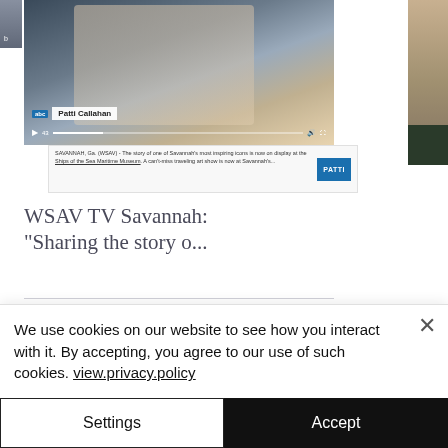[Figure (screenshot): Video thumbnail showing a woman being interviewed, with name bar reading 'Patti Callahan', video controls visible at the bottom, and a partial article description below.]
WSAV TV Savannah: "Sharing the story o..."
27 views · 1 comment · 1 like
We use cookies on our website to see how you interact with it. By accepting, you agree to our use of such cookies. view.privacy.policy